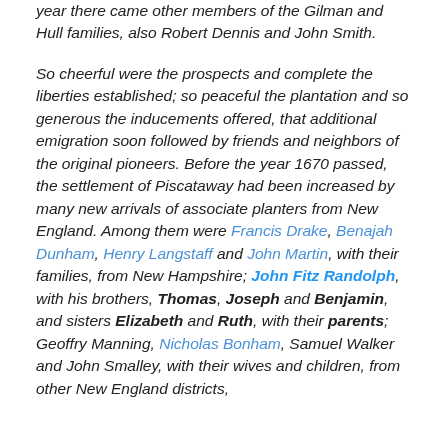year there came other members of the Gilman and Hull families, also Robert Dennis and John Smith.

So cheerful were the prospects and complete the liberties established; so peaceful the plantation and so generous the inducements offered, that additional emigration soon followed by friends and neighbors of the original pioneers. Before the year 1670 passed, the settlement of Piscataway had been increased by many new arrivals of associate planters from New England. Among them were Francis Drake, Benajah Dunham, Henry Langstaff and John Martin, with their families, from New Hampshire; John Fitz Randolph, with his brothers, Thomas, Joseph and Benjamin, and sisters Elizabeth and Ruth, with their parents; Geoffry Manning, Nicholas Bonham, Samuel Walker and John Smalley, with their wives and children, from other New England districts,